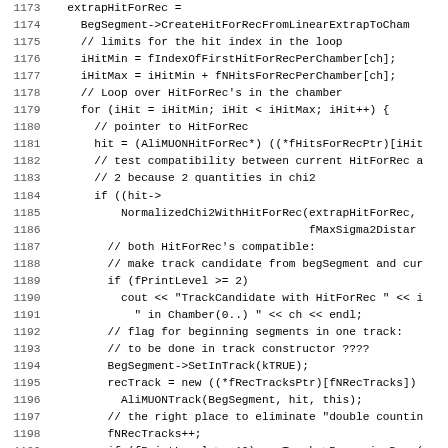[Figure (screenshot): Source code listing in C++ showing lines 1173-1204 of a MUON track reconstruction routine, with line numbers on the left and code on the right using a monospace font.]